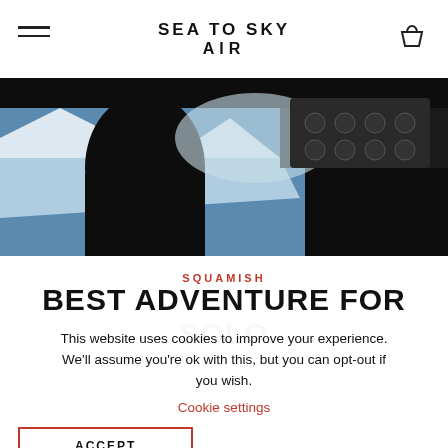SEA TO SKY AIR
[Figure (photo): View from inside an aircraft cockpit, silhouettes of pilot seats and crew against a bright window showing snowy mountains and blue sky below.]
SQUAMISH
BEST ADVENTURE FOR SOLO
This website uses cookies to improve your experience. We'll assume you're ok with this, but you can opt-out if you wish.
Cookie settings
ACCEPT